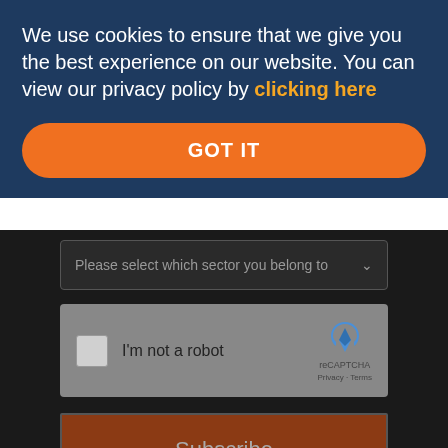We use cookies to ensure that we give you the best experience on our website. You can view our privacy policy by clicking here
GOT IT
[Figure (screenshot): Dropdown field with placeholder 'Please select which sector you belong to']
[Figure (screenshot): reCAPTCHA widget with checkbox labeled 'I'm not a robot']
Subscribe